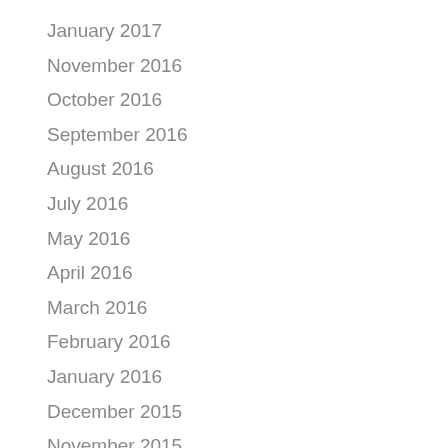January 2017
November 2016
October 2016
September 2016
August 2016
July 2016
May 2016
April 2016
March 2016
February 2016
January 2016
December 2015
November 2015
October 2015
September 2015